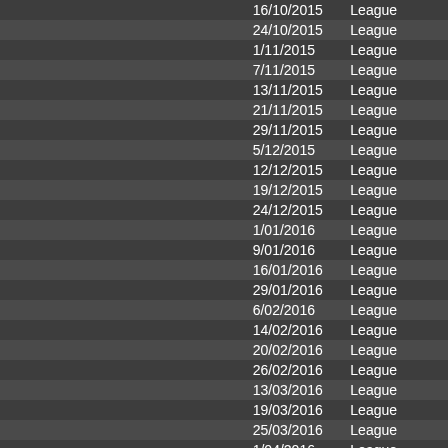|  | Date | Type |
| --- | --- | --- |
|  | 16/10/2015 | League |
|  | 24/10/2015 | League |
|  | 1/11/2015 | League |
|  | 7/11/2015 | League |
|  | 13/11/2015 | League |
|  | 21/11/2015 | League |
|  | 29/11/2015 | League |
|  | 5/12/2015 | League |
|  | 12/12/2015 | League |
|  | 19/12/2015 | League |
|  | 24/12/2015 | League |
|  | 1/01/2016 | League |
|  | 9/01/2016 | League |
|  | 16/01/2016 | League |
|  | 29/01/2016 | League |
|  | 6/02/2016 | League |
|  | 14/02/2016 | League |
|  | 20/02/2016 | League |
|  | 26/02/2016 | League |
|  | 13/03/2016 | League |
|  | 19/03/2016 | League |
|  | 25/03/2016 | League |
|  | 1/04/2016 | League |
|  | 10/04/2016 | League |